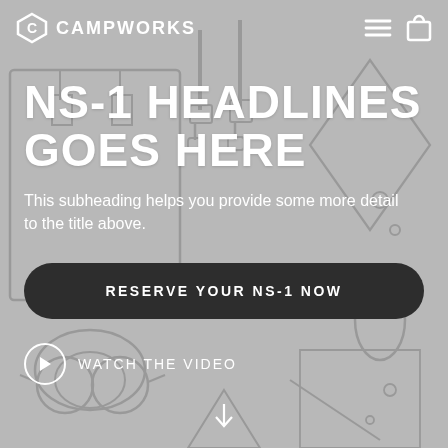[Figure (screenshot): Campworks website hero section with camping equipment illustration background in grey tones]
CAMPWORKS
NS-1 HEADLINES GOES HERE
This subheading helps you provide some more detail to the title above.
RESERVE YOUR NS-1 NOW
WATCH THE VIDEO